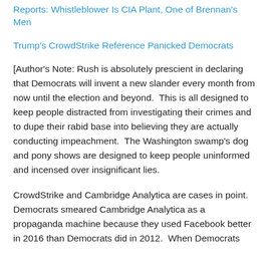Reports: Whistleblower Is CIA Plant, One of Brennan's Men
Trump's CrowdStrike Reference Panicked Democrats
[Author's Note: Rush is absolutely prescient in declaring that Democrats will invent a new slander every month from now until the election and beyond.  This is all designed to keep people distracted from investigating their crimes and to dupe their rabid base into believing they are actually conducting impeachment.  The Washington swamp's dog and pony shows are designed to keep people uninformed and incensed over insignificant lies.
CrowdStrike and Cambridge Analytica are cases in point.  Democrats smeared Cambridge Analytica as a propaganda machine because they used Facebook better in 2016 than Democrats did in 2012.  When Democrats